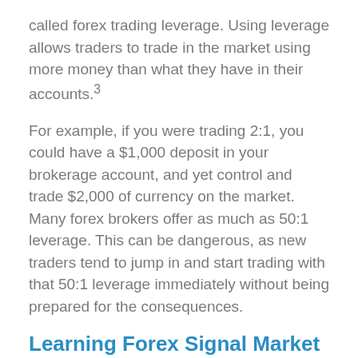called forex trading leverage. Using leverage allows traders to trade in the market using more money than what they have in their accounts.3
For example, if you were trading 2:1, you could have a $1,000 deposit in your brokerage account, and yet control and trade $2,000 of currency on the market. Many forex brokers offer as much as 50:1 leverage. This can be dangerous, as new traders tend to jump in and start trading with that 50:1 leverage immediately without being prepared for the consequences.
Learning Forex Signal Market
How it Works